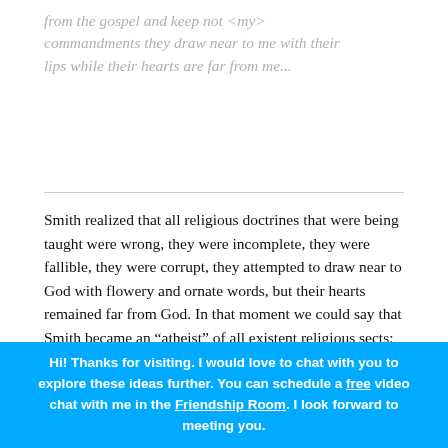from the gospel and keep not <my> commandments they draw near to me with their lips while their hearts are far from me...
Smith realized that all religious doctrines that were being taught were wrong, they were incomplete, they were fallible, they were corrupt, they attempted to draw near to God with flowery and ornate words, but their hearts remained far from God. In that moment we could say that Smith became an “atheist” of all existent religious sects; he didn’t believe in them, or the God they described. The God he had experienced was not there.
Hi! Thanks for visiting. I would love to chat with you to explore these ideas further. You can schedule a free video chat with me in the Friendship Room. I look forward to meeting you.